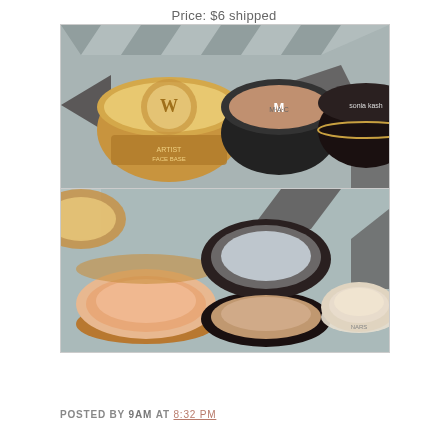Price: $6 shipped
[Figure (photo): Two photos of makeup product jars/compacts. Top photo shows three cosmetic containers closed: a gold/tan jar on left, a black MAC compact in center, and a dark jar labeled 'Sonia Kashuk' on right, on a patterned surface. Bottom photo shows the same three containers open: revealing a peachy cream product in the left jar, a tan/peachy pressed powder in the MAC compact, and a light cream in the smaller jar on right.]
POSTED BY 9AM AT 8:32 PM